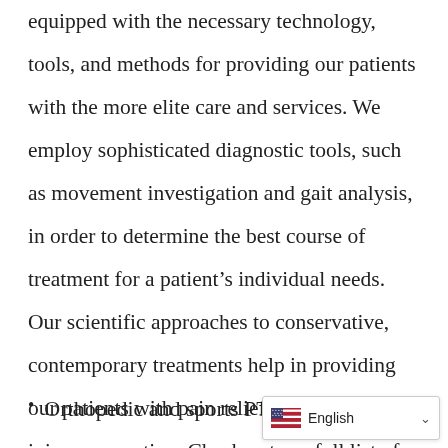equipped with the necessary technology, tools, and methods for providing our patients with the more elite care and services. We employ sophisticated diagnostic tools, such as movement investigation and gait analysis, in order to determine the best course of treatment for a patient's individual needs. Our scientific approaches to conservative, contemporary treatments help in providing our patients with pain relief, healing, and injury prevention. Check out our full list of services:
Orthopedic and sports PT